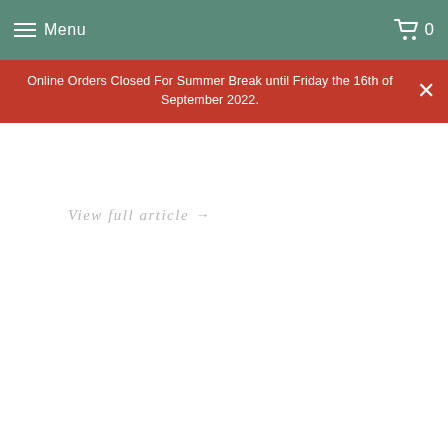Menu
Caring for your self... naturally
Online Orders Closed For Summer Break until Friday the 16th of September 2022.
View full article →